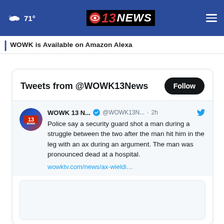71° | WOWK 13 NEWS
WOWK is Available on Amazon Alexa
Tweets from @WOWK13News
WOWK 13 N... @WOWK13N... · 2h — Police say a security guard shot a man during a struggle between the two after the man hit him in the leg with an ax during an argument. The man was pronounced dead at a hospital. wowktv.com/news/ax-wieldi…